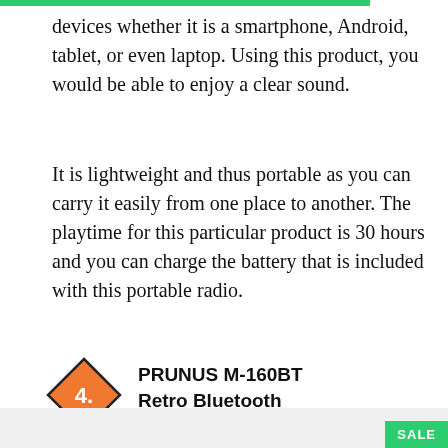devices whether it is a smartphone, Android, tablet, or even laptop. Using this product, you would be able to enjoy a clear sound.
It is lightweight and thus portable as you can carry it easily from one place to another. The playtime for this particular product is 30 hours and you can charge the battery that is included with this portable radio.
4. PRUNUS M-160BT Retro Bluetooth Speaker, Portable AM FM Shortwave Rechargeable Radio